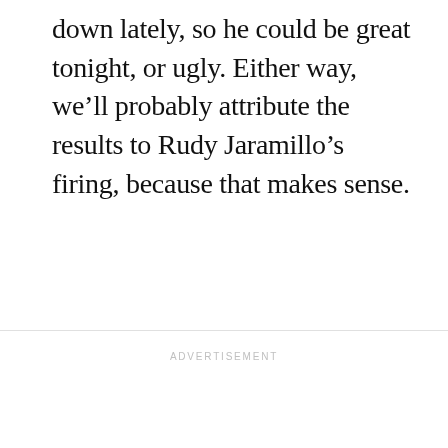down lately, so he could be great tonight, or ugly. Either way, we’ll probably attribute the results to Rudy Jaramillo’s firing, because that makes sense.
ADVERTISEMENT